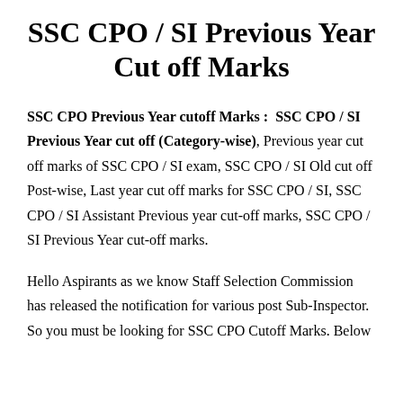SSC CPO / SI Previous Year Cut off Marks
SSC CPO Previous Year cutoff Marks :  SSC CPO / SI Previous Year cut off (Category-wise), Previous year cut off marks of SSC CPO / SI exam, SSC CPO / SI Old cut off Post-wise, Last year cut off marks for SSC CPO / SI, SSC CPO / SI Assistant Previous year cut-off marks, SSC CPO / SI Previous Year cut-off marks.
Hello Aspirants as we know Staff Selection Commission has released the notification for various post Sub-Inspector. So you must be looking for SSC CPO Cutoff Marks. Below